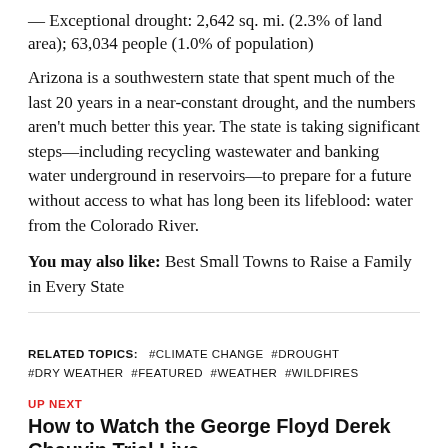— Exceptional drought: 2,642 sq. mi. (2.3% of land area); 63,034 people (1.0% of population)
Arizona is a southwestern state that spent much of the last 20 years in a near-constant drought, and the numbers aren't much better this year. The state is taking significant steps—including recycling wastewater and banking water underground in reservoirs—to prepare for a future without access to what has long been its lifeblood: water from the Colorado River.
You may also like: Best Small Towns to Raise a Family in Every State
RELATED TOPICS: #CLIMATE CHANGE #DROUGHT #DRY WEATHER #FEATURED #WEATHER #WILDFIRES
UP NEXT
How to Watch the George Floyd Derek Chauvin Trial Live